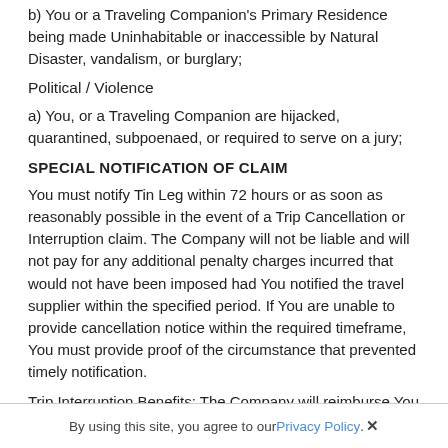b) You or a Traveling Companion's Primary Residence being made Uninhabitable or inaccessible by Natural Disaster, vandalism, or burglary;
Political / Violence
a) You, or a Traveling Companion are hijacked, quarantined, subpoenaed, or required to serve on a jury;
SPECIAL NOTIFICATION OF CLAIM
You must notify Tin Leg within 72 hours or as soon as reasonably possible in the event of a Trip Cancellation or Interruption claim. The Company will not be liable and will not pay for any additional penalty charges incurred that would not have been imposed had You notified the travel supplier within the specified period. If You are unable to provide cancellation notice within the required timeframe, You must provide proof of the circumstance that prevented timely notification.
Trip Interruption Benefits: The Company will reimburse You up to the Maximum Limit shown in the Schedule for Trips that are interrupted due to the Unforeseen events shown above for:
By using this site, you agree to our Privacy Policy. ✕